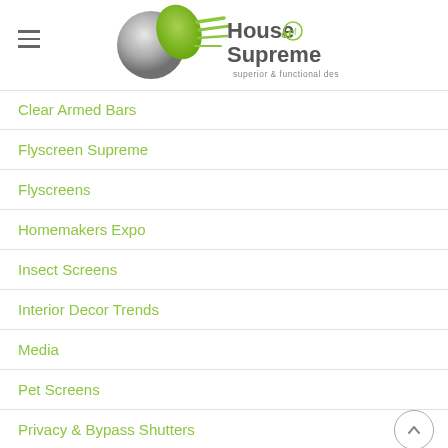[Figure (logo): House of Supreme logo with grey and green yin-yang style graphic and text 'House of Supreme, superior & functional design']
Clear Armed Bars
Flyscreen Supreme
Flyscreens
Homemakers Expo
Insect Screens
Interior Decor Trends
Media
Pet Screens
Privacy & Bypass Shutters
Security Shutters